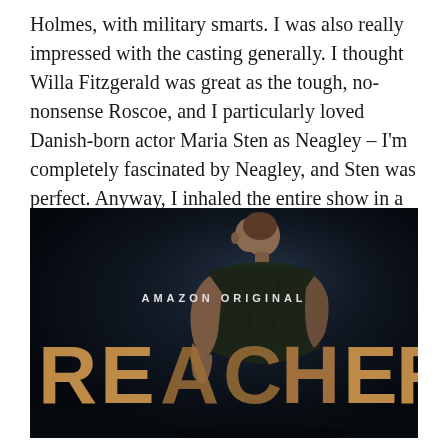Holmes, with military smarts. I was also really impressed with the casting generally. I thought Willa Fitzgerald was great as the tough, no-nonsense Roscoe, and I particularly loved Danish-born actor Maria Sten as Neagley – I'm completely fascinated by Neagley, and Sten was perfect. Anyway, I inhaled the entire show in a single week, so I rec it.
[Figure (photo): Promotional poster for Amazon Original series REACHER, showing a muscular man in a dark t-shirt viewed from behind, with large golden letters spelling REACHER across the bottom and 'AMAZON ORIGINAL' text above.]